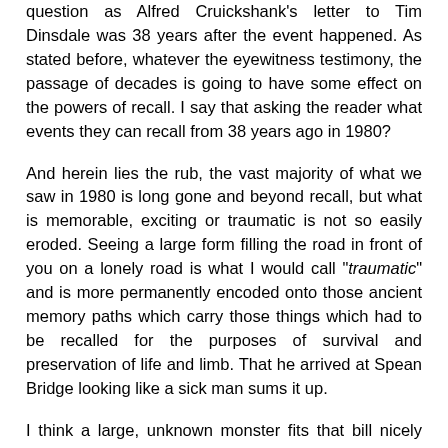question as Alfred Cruickshank's letter to Tim Dinsdale was 38 years after the event happened. As stated before, whatever the eyewitness testimony, the passage of decades is going to have some effect on the powers of recall. I say that asking the reader what events they can recall from 38 years ago in 1980?
And herein lies the rub, the vast majority of what we saw in 1980 is long gone and beyond recall, but what is memorable, exciting or traumatic is not so easily eroded. Seeing a large form filling the road in front of you on a lonely road is what I would call "traumatic" and is more permanently encoded onto those ancient memory paths which carry those things which had to be recalled for the purposes of survival and preservation of life and limb. That he arrived at Spean Bridge looking like a sick man sums it up.
I think a large, unknown monster fits that bill nicely and note that the two accounts given about 13 years apart do not differ greatly in detail. Having said that, even this will not be subject to perfect recall in regards to exact details as I note that the two accounts differ in who Alfred Cruickshank told his story to first, a detail omitted in one account but present in the other.